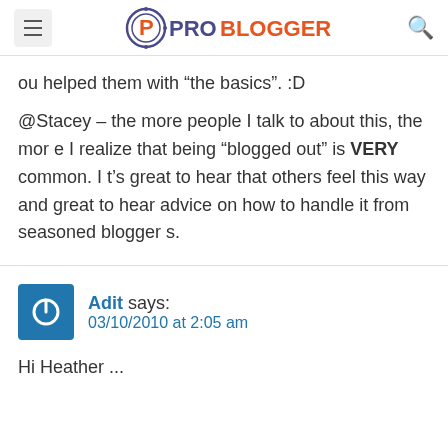ProBlogger
ou helped them with “the basics”. :D
@Stacey – the more people I talk to about this, the more I realize that being “blogged out” is VERY common. It’s great to hear that others feel this way and great to hear advice on how to handle it from seasoned bloggers.
Adit says:
03/10/2010 at 2:05 am
Hi Heather ...